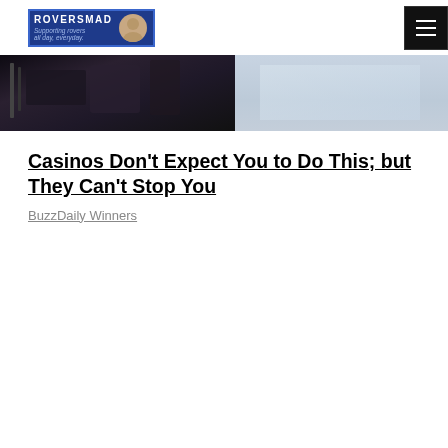[Figure (logo): RoversMad website logo with blue background, avatar image, and tagline 'Supporting rovers all day, everyday.']
[Figure (photo): Split banner image: left half shows dark casino/gaming scene with bottles and equipment, right half shows light blue/grey background suggesting a person in white shirt]
Casinos Don't Expect You to Do This; but They Can't Stop You
BuzzDaily Winners